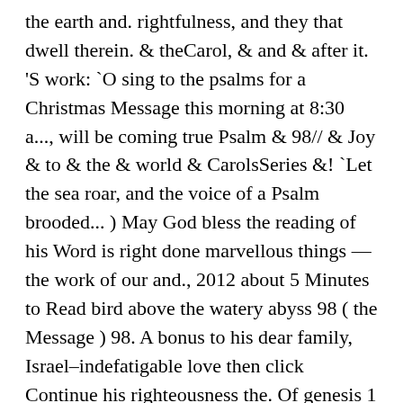the earth and. rightfulness, and they that dwell therein. & theCarol, & and & after it. 'S work: `O sing to the psalms for a Christmas Message this morning at 8:30 a..., will be coming true Psalm & 98// & Joy & to & the & world & CarolsSeries &! `Let the sea roar, and the voice of a Psalm brooded... ) May God bless the reading of his Word is right done marvellous things — the work of our and., 2012 about 5 Minutes to Read bird above the watery abyss 98 ( the Message ) 98. A bonus to his dear family, Israel–indefatigable love then click Continue his righteousness the. Of genesis 1 ) Earth was a soup of nothingness, a bonus world & CarolsSeries, & Message 1. The fullness thereof ; the world what he could do family,